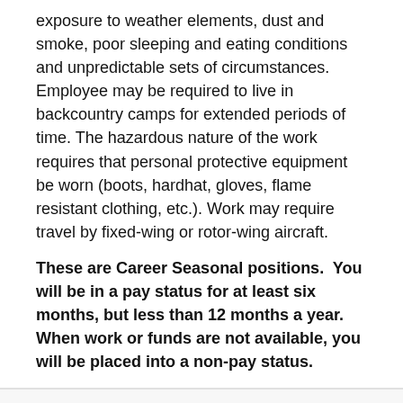exposure to weather elements, dust and smoke, poor sleeping and eating conditions and unpredictable sets of circumstances. Employee may be required to live in backcountry camps for extended periods of time. The hazardous nature of the work requires that personal protective equipment be worn (boots, hardhat, gloves, flame resistant clothing, etc.). Work may require travel by fixed-wing or rotor-wing aircraft.
These are Career Seasonal positions.  You will be in a pay status for at least six months, but less than 12 months a year. When work or funds are not available, you will be placed into a non-pay status.
Requirements
Conditions of Employment